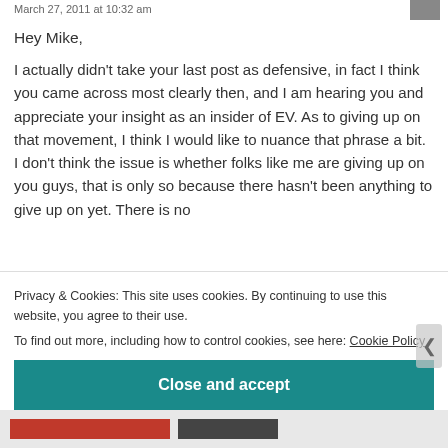March 27, 2011 at 10:32 am
Hey Mike,
I actually didn't take your last post as defensive, in fact I think you came across most clearly then, and I am hearing you and appreciate your insight as an insider of EV. As to giving up on that movement, I think I would like to nuance that phrase a bit. I don't think the issue is whether folks like me are giving up on you guys, that is only so because there hasn't been anything to give up on yet. There is no
Privacy & Cookies: This site uses cookies. By continuing to use this website, you agree to their use.
To find out more, including how to control cookies, see here: Cookie Policy
Close and accept